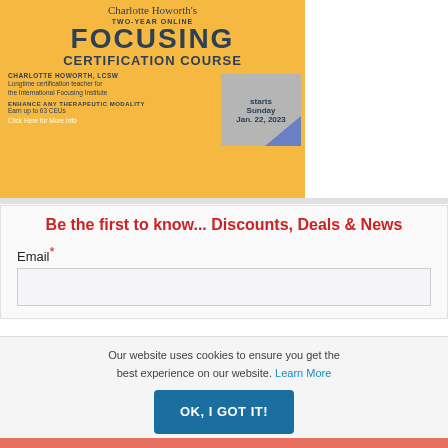[Figure (illustration): Charlotte Howorth's Two-Year Online Focusing Certification Course advertisement banner with yellow/orange background. Shows course title, instructor name Charlotte Howorth LCSW, description as longtime certification teacher for the International Focusing Institute, mentions enhancing therapeutic modality and earning up to 63 CEUs. Start date: Sunday Jan. 22, 2023. Blue triangle decoration.]
Be the first to know... Discounts, Deals & News
Email*
Our website uses cookies to ensure you get the best experience on our website. Learn More
OK, I GOT IT!